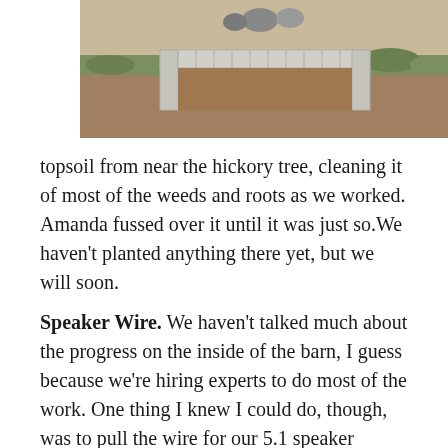[Figure (photo): Outdoor photo showing a raised garden bed made of concrete blocks/cinder blocks on bare soil, with grass and rocks visible in the background.]
topsoil from near the hickory tree, cleaning it of most of the weeds and roots as we worked. Amanda fussed over it until it was just so.We haven't planted anything there yet, but we will soon.
Speaker Wire. We haven't talked much about the progress on the inside of the barn, I guess because we're hiring experts to do most of the work. One thing I knew I could do, though, was to pull the wire for our 5.1 speaker system. I have confessed to Amanda that I'm not excited about having a television in the barn and could